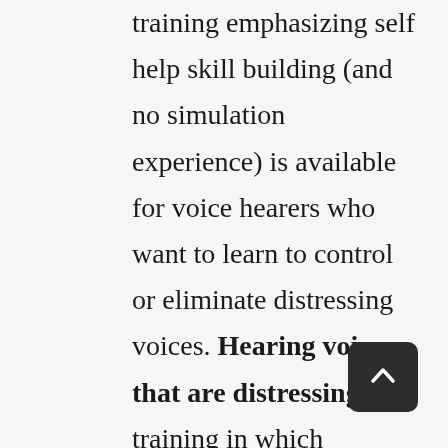training emphasizing self help skill building (and no simulation experience) is available for voice hearers who want to learn to control or eliminate distressing voices. Hearing voices that are distressing is a training in which participants use headphones for listening to a specially designed audiotape. During this simulated experience of hearing voices, participants undertake a series of tasks including social interaction in the community, a psychiatric interview, cognitive testing, and an activities group in a